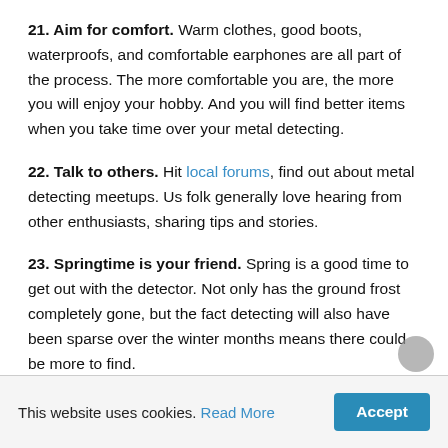21. Aim for comfort. Warm clothes, good boots, waterproofs, and comfortable earphones are all part of the process. The more comfortable you are, the more you will enjoy your hobby. And you will find better items when you take time over your metal detecting.
22. Talk to others. Hit local forums, find out about metal detecting meetups. Us folk generally love hearing from other enthusiasts, sharing tips and stories.
23. Springtime is your friend. Spring is a good time to get out with the detector. Not only has the ground frost completely gone, but the fact detecting will also have been sparse over the winter months means there could be more to find.
This website uses cookies. Read More Accept